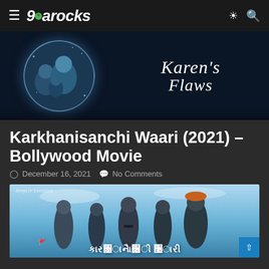9Jarocks
[Figure (photo): Banner image for Karen's Flaws movie showing figures in a circular water frame on dark background with cursive text reading Karen's Flaws]
Karkhanisanchi Waari (2021) – Bollywood Movie
December 16, 2021  No Comments
[Figure (photo): Movie poster for Karkhanisanchi Waari showing group of people against a blue sky background with Marathi text and SonyLIV Exclusive badge]